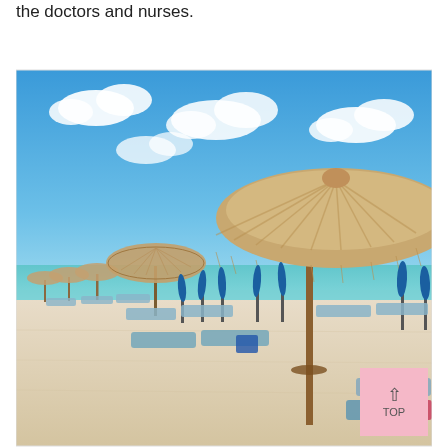the doctors and nurses.
[Figure (photo): Beach scene with thatched straw umbrellas on a sandy beach, blue sea and sky with white clouds, blue sun loungers arranged in rows, a 'TOP' navigation button in the bottom right corner]